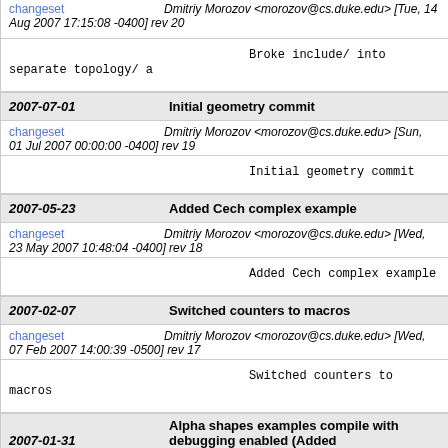changeset   Dmitriy Morozov <morozov@cs.duke.edu> [Tue, 14 Aug 2007 17:15:08 -0400] rev 20
Broke include/ into separate topology/ a
2007-07-01   Initial geometry commit
changeset   Dmitriy Morozov <morozov@cs.duke.edu> [Sun, 01 Jul 2007 00:00:00 -0400] rev 19
Initial geometry commit
2007-05-23   Added Cech complex example
changeset   Dmitriy Morozov <morozov@cs.duke.edu> [Wed, 23 May 2007 10:48:04 -0400] rev 18
Added Cech complex example
2007-02-07   Switched counters to macros
changeset   Dmitriy Morozov <morozov@cs.duke.edu> [Wed, 07 Feb 2007 14:00:39 -0500] rev 17
Switched counters to macros
2007-01-31   Alpha shapes examples compile with debugging enabled (Added AlphaSimplex3D::boundary())